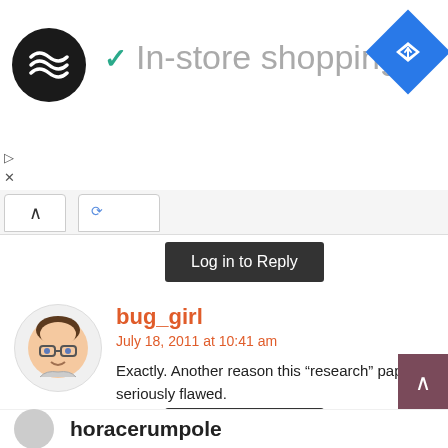[Figure (screenshot): Top navigation/ad bar with circular logo icon, checkmark, 'In-store shopping' text, and blue diamond navigation icon]
▷
×
[Figure (screenshot): Browser tab bar with caret/arrow up icon and a tab partially visible]
Log in to Reply
[Figure (illustration): Cartoon avatar of bug_girl - person with brown hair and glasses]
bug_girl
July 18, 2011 at 10:41 am
Exactly. Another reason this “research” paper is seriously flawed.
Loading...
Log in to Reply
[Figure (illustration): Scroll-to-top button with up caret arrow]
horacerumpole